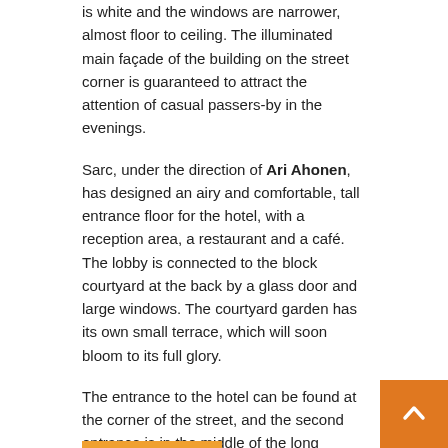is white and the windows are narrower, almost floor to ceiling. The illuminated main façade of the building on the street corner is guaranteed to attract the attention of casual passers-by in the evenings.
Sarc, under the direction of Ari Ahonen, has designed an airy and comfortable, tall entrance floor for the hotel, with a reception area, a restaurant and a café. The lobby is connected to the block courtyard at the back by a glass door and large windows. The courtyard garden has its own small terrace, which will soon bloom to its full glory.
The entrance to the hotel can be found at the corner of the street, and the second entrance is in the middle of the long façade. The intention and hope is that the hotel lobby will also serve as a meeting place for the city's residents to drop in for a coffee, a meal or a drink.
Different from the rest – and therefore Lindfors